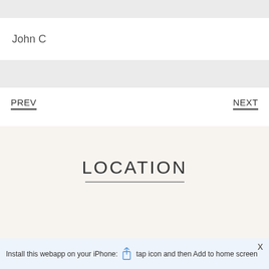John C
PREV
NEXT
LOCATION
Install this webapp on your iPhone: tap icon and then Add to home screen